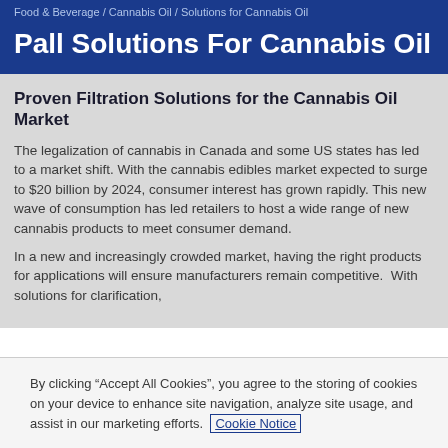Food & Beverage / Cannabis Oil / Solutions for Cannabis Oil
Pall Solutions For Cannabis Oil
Proven Filtration Solutions for the Cannabis Oil Market
The legalization of cannabis in Canada and some US states has led to a market shift. With the cannabis edibles market expected to surge to $20 billion by 2024, consumer interest has grown rapidly. This new wave of consumption has led retailers to host a wide range of new cannabis products to meet consumer demand.
In a new and increasingly crowded market, having the right products for applications will ensure manufacturers remain competitive.  With solutions for clarification,
By clicking “Accept All Cookies”, you agree to the storing of cookies on your device to enhance site navigation, analyze site usage, and assist in our marketing efforts. Cookie Notice